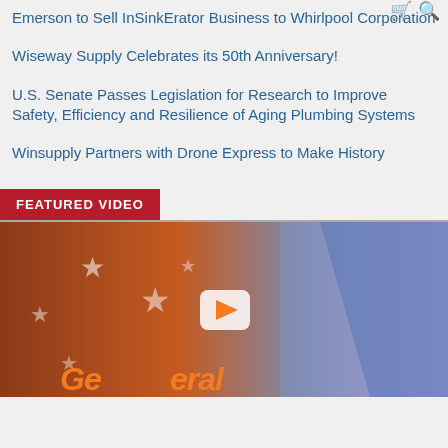Emerson to Sell InSinkErator Business to Whirlpool Corporation
Wiseway Supply Celebrates its 50th Anniversary!
U.S. Senate Passes Legislation for Research to Improve Safety, Efficiency and Resilience of Aging Plumbing Systems
Winsupply Partners with Drone Express to Make History
FEATURED VIDEO
[Figure (screenshot): Video thumbnail showing an American flag background with stars and a play button overlay. Orange italic text reads 'General' partially visible at bottom.]